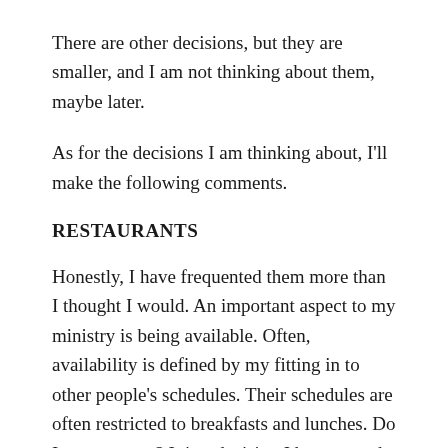There are other decisions, but they are smaller, and I am not thinking about them, maybe later.
As for the decisions I am thinking about, I'll make the following comments.
RESTAURANTS
Honestly, I have frequented them more than I thought I would. An important aspect to my ministry is being available. Often, availability is defined by my fitting in to other people's schedules. Their schedules are often restricted to breakfasts and lunches. Do I go or not go? It is a decision I have to make every day.